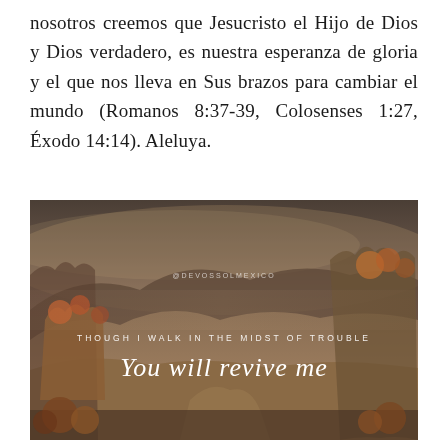nosotros creemos que Jesucristo el Hijo de Dios y Dios verdadero, es nuestra esperanza de gloria y el que nos lleva en Sus brazos para cambiar el mundo (Romanos 8:37-39, Colosenses 1:27, Éxodo 14:14). Aleluya.
[Figure (photo): Landscape photo of an autumn hillside with fog and trees, overlaid with the text '@DEVOSSOLMEXICO', 'THOUGH I WALK IN THE MIDST OF TROUBLE', and cursive script 'You will revive me']